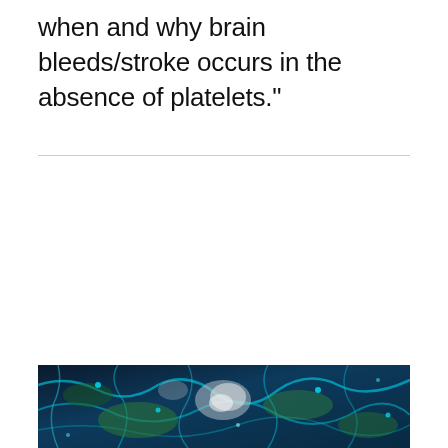when and why brain bleeds/stroke occurs in the absence of platelets."
[Figure (photo): Microscopy image showing brain tissue or cells with blue, green, teal, and white coloring, likely a fluorescence microscopy image of neural/vascular tissue.]